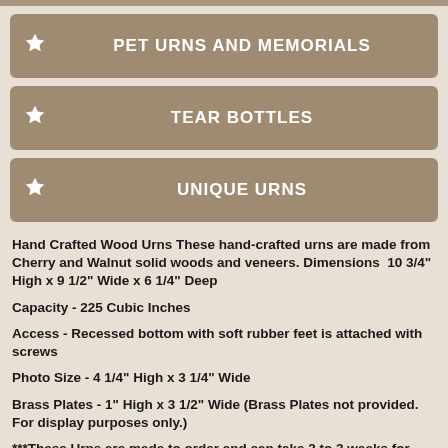PET URNS AND MEMORIALS
TEAR BOTTLES
UNIQUE URNS
Hand Crafted Wood Urns These hand-crafted urns are made from Cherry and Walnut solid woods and veneers. Dimensions  10 3/4" High x 9 1/2" Wide x 6 1/4" Deep
Capacity - 225 Cubic Inches
Access - Recessed bottom with soft rubber feet is attached with screws
Photo Size - 4 1/4" High x 3 1/4" Wide
Brass Plates - 1" High x 3 1/2" Wide (Brass Plates not provided. For display purposes only.)
***These Urns are made to order and can take 2 to 3 weeks for delivery.